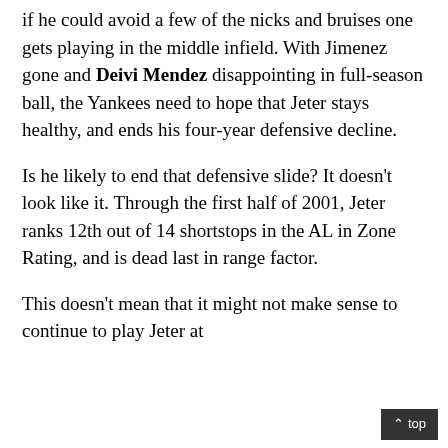if he could avoid a few of the nicks and bruises one gets playing in the middle infield. With Jimenez gone and Deivi Mendez disappointing in full-season ball, the Yankees need to hope that Jeter stays healthy, and ends his four-year defensive decline.
Is he likely to end that defensive slide? It doesn't look like it. Through the first half of 2001, Jeter ranks 12th out of 14 shortstops in the AL in Zone Rating, and is dead last in range factor.
This doesn't mean that it might not make sense to continue to play Jeter at